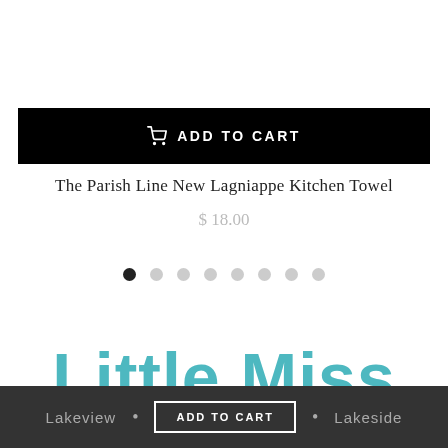[Figure (screenshot): Black 'ADD TO CART' button bar with shopping cart icon]
The Parish Line New Lagniappe Kitchen Towel
$ 18.00
[Figure (other): Carousel dot indicators — 8 dots, first one active (dark)]
Little Miss Muffin
Lakeview • ADD TO CART • Lakeside